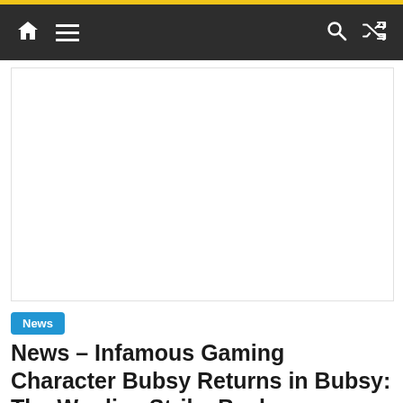Navigation bar with home, menu, search, and shuffle icons
[Figure (other): White advertisement placeholder rectangle]
News
News – Infamous Gaming Character Bubsy Returns in Bubsy: The Woolies Strike Back
12/06/2017   Sophia Aubrey Drake   312 Views   0